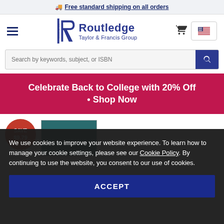Free standard shipping on all orders
[Figure (logo): Routledge Taylor & Francis Group logo with stylized R mark]
Search by keywords, subject, or ISBN
Celebrate Back to College with 20% Off • Shop Now
[Figure (other): SAVE $9.79 red circle badge and book thumbnail]
We use cookies to improve your website experience. To learn how to manage your cookie settings, please see our Cookie Policy. By continuing to use the website, you consent to our use of cookies.
ACCEPT